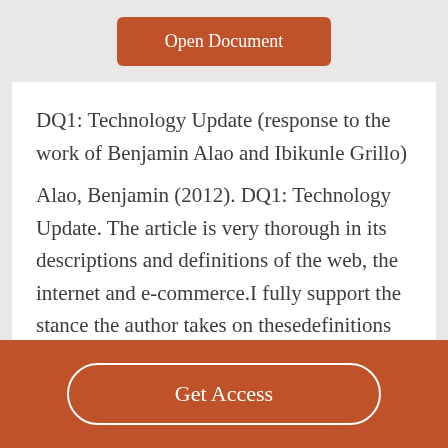Open Document
DQ1: Technology Update (response to the work of Benjamin Alao and Ibikunle Grillo)
Alao, Benjamin (2012). DQ1: Technology Update. The article is very thorough in its descriptions and definitions of the web, the internet and e-commerce.I fully support the stance the author takes on thesedefinitions and capabilities of the
Get Access